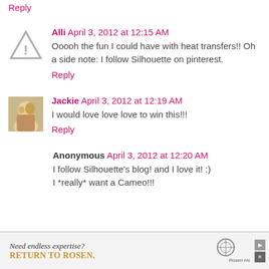Reply
Alli  April 3, 2012 at 12:15 AM
Ooooh the fun I could have with heat transfers!! Oh a side note: I follow Silhouette on pinterest.
Reply
Jackie  April 3, 2012 at 12:19 AM
I would love love love to win this!!!
Reply
Anonymous  April 3, 2012 at 12:20 AM
I follow Silhouette's blog! and I love it! :)
I *really* want a Cameo!!!
[Figure (other): Advertisement banner: Need endless expertise? RETURN TO ROSEN. Rosen Hotels & Resorts logo.]